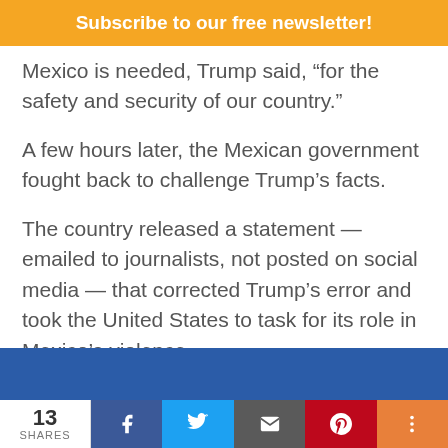Subscribe to our free newsletter!
Mexico is needed, Trump said, “for the safety and security of our country.”
A few hours later, the Mexican government fought back to challenge Trump’s facts.
The country released a statement — emailed to journalists, not posted on social media — that corrected Trump’s error and took the United States to task for its role in Mexico’s violence.
13 SHARES | Facebook | Twitter | Email | Pinterest | More